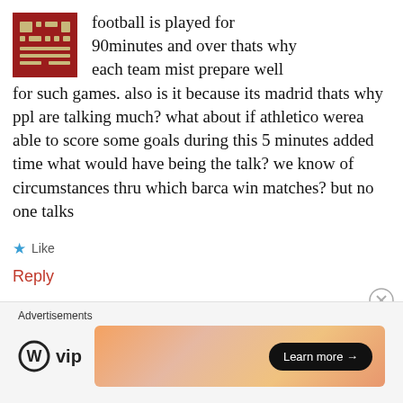[Figure (logo): Red square logo with pixel art football/soccer net design in beige/tan color]
football is played for 90minutes and over thats why each team mist prepare well for such games. also is it because its madrid thats why ppl are talking much? what about if athletico werea able to score some goals during this 5 minutes added time what would have being the talk? we know of circumstances thru which barca win matches? but no one talks
Like
Reply
Advertisements
[Figure (logo): WordPress VIP logo]
[Figure (screenshot): Advertisement banner with gradient orange/peach background and Learn more button]